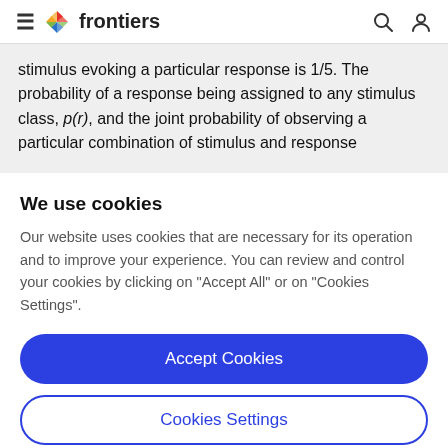frontiers
stimulus evoking a particular response is 1/5. The probability of a response being assigned to any stimulus class, p(r), and the joint probability of observing a particular combination of stimulus and response
We use cookies
Our website uses cookies that are necessary for its operation and to improve your experience. You can review and control your cookies by clicking on "Accept All" or on "Cookies Settings".
Accept Cookies
Cookies Settings